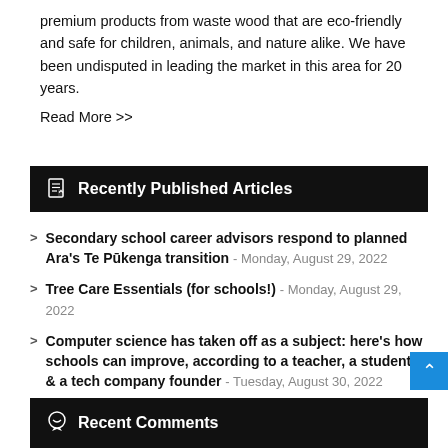premium products from waste wood that are eco-friendly and safe for children, animals, and nature alike. We have been undisputed in leading the market in this area for 20 years.
Read More >>
Recently Published Articles
Secondary school career advisors respond to planned Ara's Te Pūkenga transition - Monday, August 29, 2022
Tree Care Essentials (for schools!) - Monday, August 29, 2022
Computer science has taken off as a subject: here's how schools can improve, according to a teacher, a student, & a tech company founder - Tuesday, August 30, 2022
Feeding young minds - Monday, August 29, 2022
Safety Measures: Science lab solutions - Monday, August 29, 2022
Recent Comments